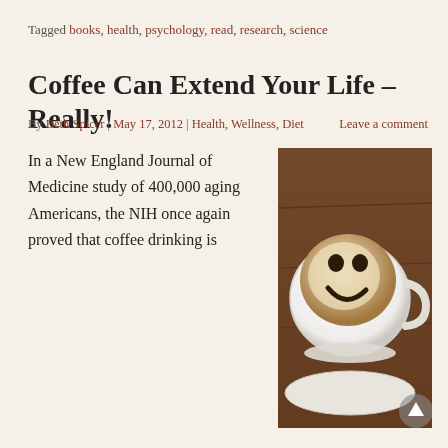Tagged books, health, psychology, read, research, science
Coffee Can Extend Your Life – Really!
By Beth Spicer | May 17, 2012 | Health, Wellness, Diet    Leave a comment
[Figure (photo): A white coffee cup with latte art showing a smiley face made of coffee grounds on a wooden table]
In a New England Journal of Medicine study of 400,000 aging Americans, the NIH once again proved that coffee drinking is